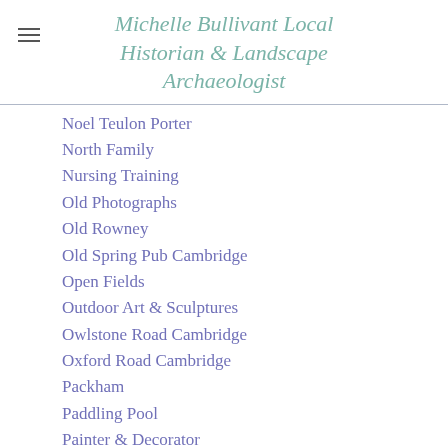Michelle Bullivant Local Historian & Landscape Archaeologist
Noel Teulon Porter
North Family
Nursing Training
Old Photographs
Old Rowney
Old Spring Pub Cambridge
Open Fields
Outdoor Art & Sculptures
Owlstone Road Cambridge
Oxford Road Cambridge
Packham
Paddling Pool
Painter & Decorator
Pam Ostler
Paradise Woods
Parker's Piece Cambridge
Park Parade